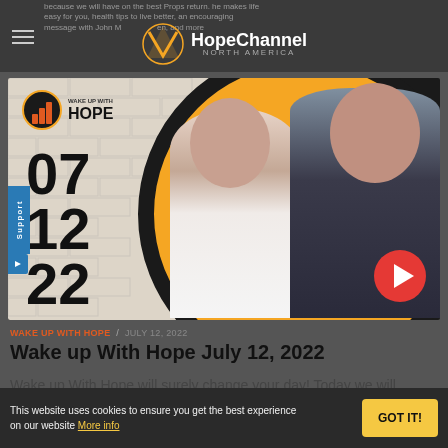Hope Channel North America
[Figure (screenshot): Wake Up With Hope show thumbnail dated July 12, 2022. Shows two hosts (a woman and a man) against an orange circle background, with a brick wall on the left showing the date 07 12 22 in large bold numbers, a Wake Up With Hope logo, and a red play button.]
WAKE UP WITH HOPE / JULY 12, 2022
Wake up With Hope July 12, 2022
Wake up With Hope will surely change your day! Today we will
This website uses cookies to ensure you get the best experience on our website More info